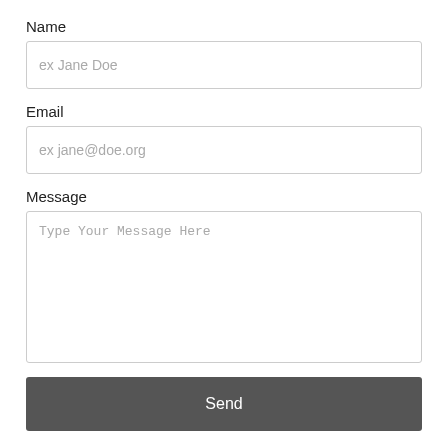Name
[Figure (other): Text input field with placeholder text 'ex Jane Doe']
Email
[Figure (other): Text input field with placeholder text 'ex jane@doe.org']
Message
[Figure (other): Textarea with placeholder text 'Type Your Message Here']
Send